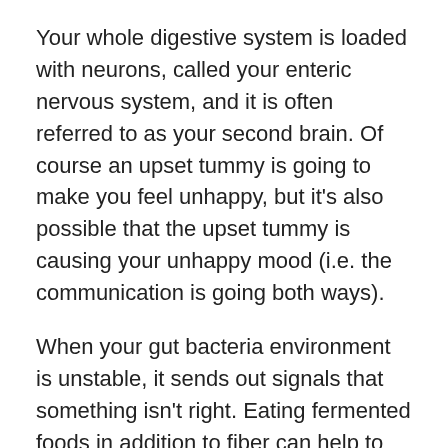Your whole digestive system is loaded with neurons, called your enteric nervous system, and it is often referred to as your second brain. Of course an upset tummy is going to make you feel unhappy, but it's also possible that the upset tummy is causing your unhappy mood (i.e. the communication is going both ways).
When your gut bacteria environment is unstable, it sends out signals that something isn't right. Eating fermented foods in addition to fiber can help to replenish healthy gut bacteria.
If yogurt came to mind, think again. Make sure to check the labels on store-bought yogurt. Most are high in sugar and pasteurized, meaning that they have been heated, which actually kills off the health-promoting bacteria. Try these foods instead: